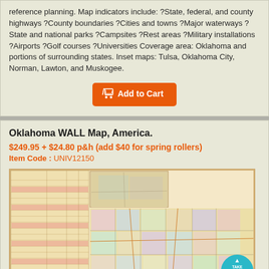reference planning. Map indicators include: ?State, federal, and county highways ?County boundaries ?Cities and towns ?Major waterways ?State and national parks ?Campsites ?Rest areas ?Military installations ?Airports ?Golf courses ?Universities Coverage area: Oklahoma and portions of surrounding states. Inset maps: Tulsa, Oklahoma City, Norman, Lawton, and Muskogee.
[Figure (other): Add to Cart button with shopping cart icon, orange background]
Oklahoma WALL Map, America.
$249.95 + $24.80 p&h (add $40 for spring rollers)
Item Code : UNIV12150
[Figure (map): Oklahoma wall map showing counties, cities, roads, with an index table on the left side. A teal 'Take Me To The Top' circular button overlays the lower right.]